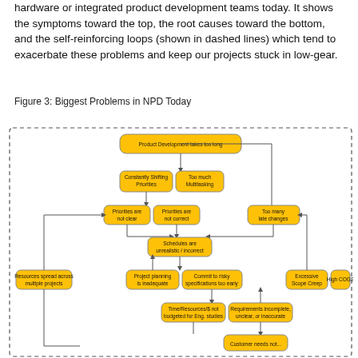hardware or integrated product development teams today. It shows the symptoms toward the top, the root causes toward the bottom, and the self-reinforcing loops (shown in dashed lines) which tend to exacerbate these problems and keep our projects stuck in low-gear.
Figure 3: Biggest Problems in NPD Today
[Figure (flowchart): Flowchart titled 'Product Development takes too long' showing causes and sub-causes: Constantly Shifting Priorities, Too much Multitasking, Priorities are not clear, Priorities are not correct, Too many late changes, Schedules are unrealistic/incorrect, Resources spread across multiple projects, Project planning is inadequate, Commit to risky specifications too early, Excessive Scope Creep, High COGS, Time/Resources/$ not budgeted for Eng. studies, Requirements incomplete unclear or inaccurate, Customer needs not... A dashed rectangle encloses the entire diagram indicating self-reinforcing loops.]